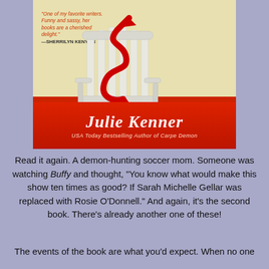[Figure (photo): Book cover photo of a Julie Kenner novel. Cover shows a white Adirondack chair with a red devil tail curling over it, on a cream/yellow background. A quote reads 'One of my favorite writers. Funny and sassy, her books are a cherished delight.' —SHERRILYN KENYON. At the bottom is a red banner with white script text reading 'Julie Kenner' and below that 'USA Today Bestselling Author of Carpe Demon'.]
Read it again. A demon-hunting soccer mom. Someone was watching Buffy and thought, "You know what would make this show ten times as good? If Sarah Michelle Gellar was replaced with Rosie O'Donnell." And again, it's the second book. There's already another one of these!
The events of the book are what you'd expect. When no one